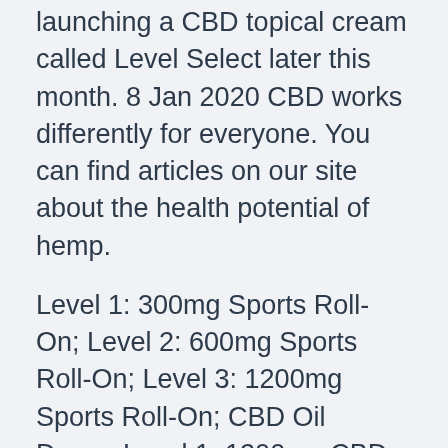launching a CBD topical cream called Level Select later this month. 8 Jan 2020 CBD works differently for everyone. You can find articles on our site about the health potential of hemp.
Level 1: 300mg Sports Roll-On; Level 2: 600mg Sports Roll-On; Level 3: 1200mg Sports Roll-On; CBD Oil Drops. Level 1: 1200mg CBD Oil Drops; Level 2: 2400mg CBD Oil Drops; Level 3: 5000mg CBD Oil Drops; Why Level Select; What Is CBD Level Select CBD - Home | Facebook Level Select CBD. 501 likes. Level Select Sports Cream & Roll-On use high-quality CBD with no THC, and offer three levels of intensity to help keep you in the game KADENWOOD, LLC Kadenwood launched its first brand, LEVEL SELECT™, in the personal care category.